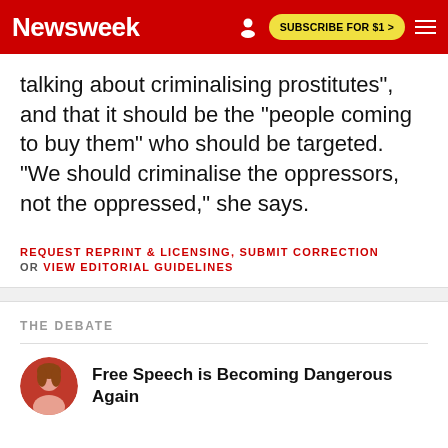Newsweek | SUBSCRIBE FOR $1 >
talking about criminalising prostitutes", and that it should be the "people coming to buy them" who should be targeted. "We should criminalise the oppressors, not the oppressed," she says.
REQUEST REPRINT & LICENSING, SUBMIT CORRECTION OR VIEW EDITORIAL GUIDELINES
THE DEBATE
Free Speech is Becoming Dangerous Again